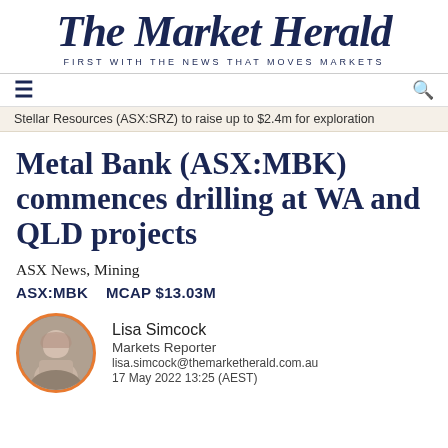The Market Herald
FIRST WITH THE NEWS THAT MOVES MARKETS
Stellar Resources (ASX:SRZ) to raise up to $2.4m for exploration
Metal Bank (ASX:MBK) commences drilling at WA and QLD projects
ASX News, Mining
ASX:MBK    MCAP $13.03M
Lisa Simcock
Markets Reporter
lisa.simcock@themarketherald.com.au
17 May 2022 13:25 (AEST)